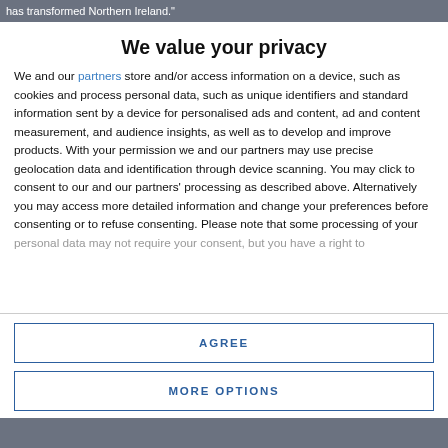has transformed Northern Ireland."
We value your privacy
We and our partners store and/or access information on a device, such as cookies and process personal data, such as unique identifiers and standard information sent by a device for personalised ads and content, ad and content measurement, and audience insights, as well as to develop and improve products. With your permission we and our partners may use precise geolocation data and identification through device scanning. You may click to consent to our and our partners' processing as described above. Alternatively you may access more detailed information and change your preferences before consenting or to refuse consenting. Please note that some processing of your personal data may not require your consent, but you have a right to
AGREE
MORE OPTIONS